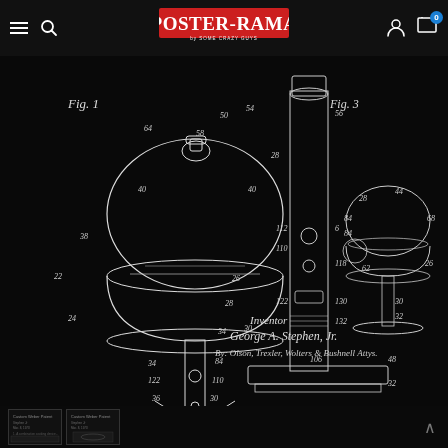Poster-Rama (navigation bar with logo, search, account, cart)
[Figure (engineering-diagram): Patent drawing on black background showing Weber-style charcoal kettle grill in multiple views (Fig. 1 full grill, Fig. 3 side view), with numbered reference parts (22, 24, 26, 28, 30, 32, 34, 36, 38, 40, 42, 44, 46, 48, 50, 54, 58, 60, 62, 64, 68, 84, 106, 110, 112, 118, 122, 130, 132), plus inventor signature: 'Inventor George A. Stephen Jr. By: Olson, Trexler, Wolters & Bushnell Atty.']
[Figure (photo): Thumbnail image 1 of patent document]